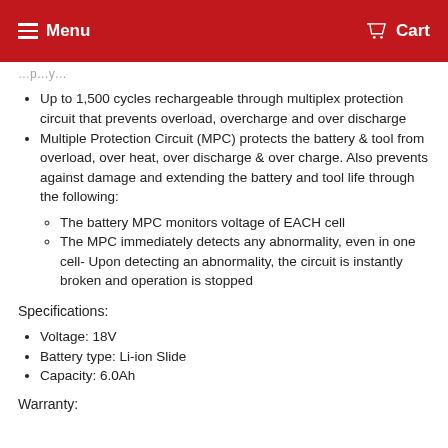Menu  Cart
Up to 1,500 cycles rechargeable through multiplex protection circuit that prevents overload, overcharge and over discharge
Multiple Protection Circuit (MPC) protects the battery & tool from overload, over heat, over discharge & over charge. Also prevents against damage and extending the battery and tool life through the following:
The battery MPC monitors voltage of EACH cell
The MPC immediately detects any abnormality, even in one cell- Upon detecting an abnormality, the circuit is instantly broken and operation is stopped
Specifications:
Voltage: 18V
Battery type: Li-ion Slide
Capacity: 6.0Ah
Warranty: